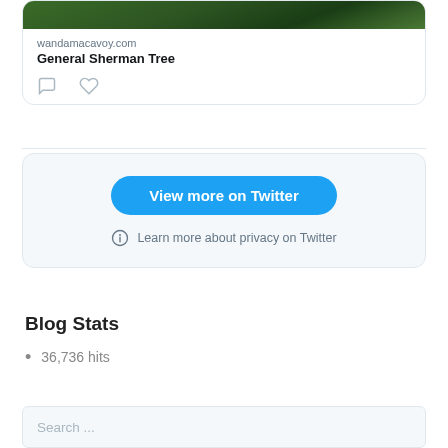[Figure (screenshot): Tweet card showing a photo of trees, with wandamacavoy.com link and General Sherman Tree title, plus comment and like icons]
[Figure (screenshot): Twitter embedded widget with 'View more on Twitter' blue button and privacy info link]
Blog Stats
36,736 hits
Search ...